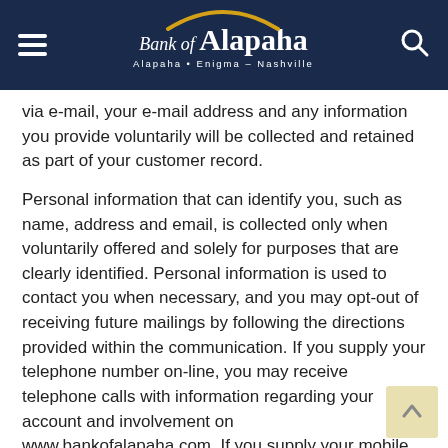Bank of Alapaha — Alapaha · Enigma · Nashville
via e-mail, your e-mail address and any information you provide voluntarily will be collected and retained as part of your customer record.
Personal information that can identify you, such as name, address and email, is collected only when voluntarily offered and solely for purposes that are clearly identified. Personal information is used to contact you when necessary, and you may opt-out of receiving future mailings by following the directions provided within the communication. If you supply your telephone number on-line, you may receive telephone calls with information regarding your account and involvement on www.bankofalapaha.com. If you supply your mobile phone number on-line, you may receive SMS text messages with information regarding your account and involvement on www.bankofalapaha.com. If at any